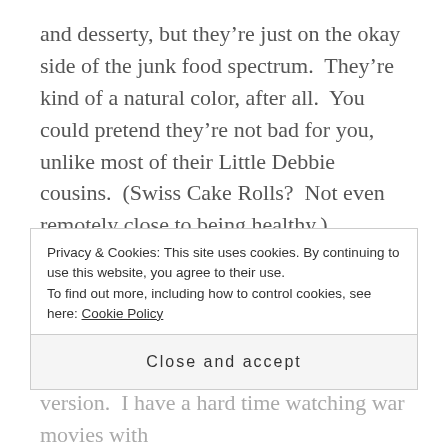and desserty, but they're just on the okay side of the junk food spectrum.  They're kind of a natural color, after all.  You could pretend they're not bad for you, unlike most of their Little Debbie cousins.  (Swiss Cake Rolls?  Not even remotely close to being healthy.)
Enough of a reverie about food for one day, right?  I promise I have other interests.  Sometimes I think about friends and books and other things between thoughts about food.
Privacy & Cookies: This site uses cookies. By continuing to use this website, you agree to their use.
To find out more, including how to control cookies, see here: Cookie Policy
Close and accept
version.  I have a hard time watching war movies with